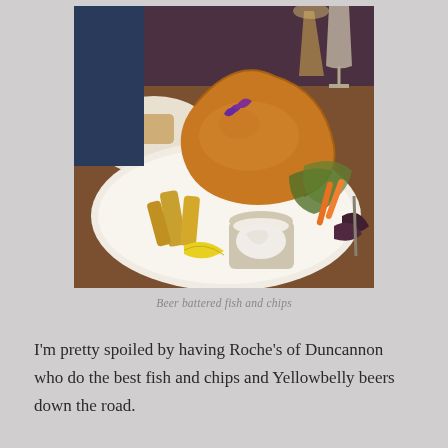[Figure (photo): A plate of beer battered fish and chips served on a white plate with salad, carrot sticks, lemon wedge, and a small container of tartar sauce. Background shows pub setting with drinks and another plate of food.]
Beer battered fish and chips
I'm pretty spoiled by having Roche's of Duncannon who do the best fish and chips and Yellowbelly beers down the road.